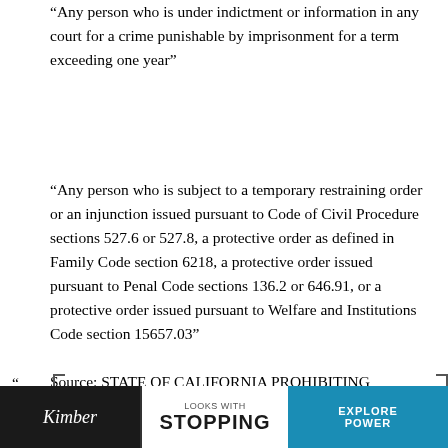“Any person who is under indictment or information in any court for a crime punishable by imprisonment for a term exceeding one year”
“Any person who is subject to a temporary restraining order or an injunction issued pursuant to Code of Civil Procedure sections 527.6 or 527.8, a protective order as defined in Family Code section 6218, a protective order issued pursuant to Penal Code sections 136.2 or 646.91, or a protective order issued pursuant to Welfare and Institutions Code section 15657.03”
Source: STATE OF CALIFORNIA PROHIBITING CATEGORIES (Rev. 01/2012)
[Figure (photo): Advertisement banner for Kimber showing a firearm with text 'LOOKS WITH STOPPING' and 'EXPLORE' on a blue background]